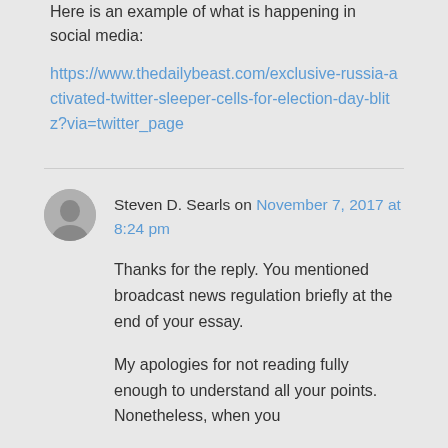Here is an example of what is happening in social media:
https://www.thedailybeast.com/exclusive-russia-activated-twitter-sleeper-cells-for-election-day-blitz?via=twitter_page
Steven D. Searls on November 7, 2017 at 8:24 pm
Thanks for the reply. You mentioned broadcast news regulation briefly at the end of your essay.
My apologies for not reading fully enough to understand all your points. Nonetheless, when you